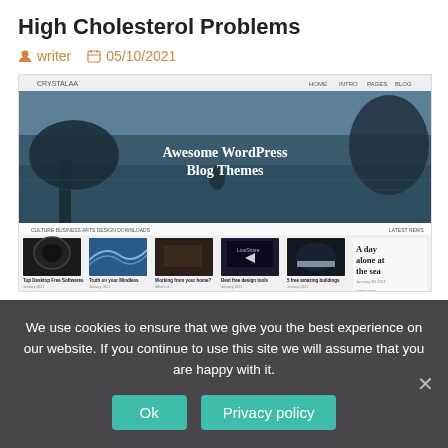High Cholesterol Problems
writer   05/10/2021
[Figure (screenshot): Screenshot of a WordPress blog theme website showing 'Awesome WordPress Blog Themes' with a lake/nature hero image and blog post thumbnails below including headphones, wave, person driving, video player, car lights, and text 'A day alone at the sea'.]
We use cookies to ensure that we give you the best experience on our website. If you continue to use this site we will assume that you are happy with it.
Ok   Privacy policy